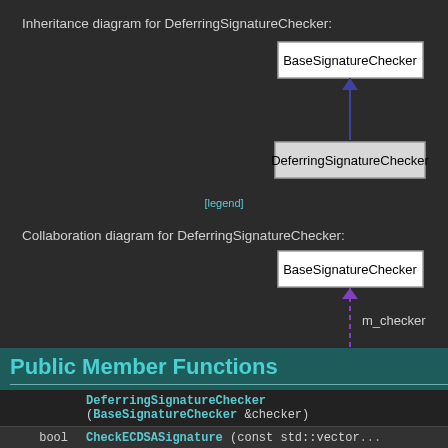[Figure (engineering-diagram): Inheritance diagram for DeferringSignatureChecker showing BaseSignatureChecker as parent with a solid blue arrow pointing up from DeferringSignatureChecker]
[legend]
[Figure (engineering-diagram): Collaboration diagram for DeferringSignatureChecker showing BaseSignatureChecker as parent with a dashed purple arrow pointing up from DeferringSignatureChecker labeled m_checker]
[legend]
Public Member Functions
|  |  |
| --- | --- |
|  | DeferringSignatureChecker (BaseSignatureChecker &checker) |
| bool | CheckECDSASignature (const std::vector... |